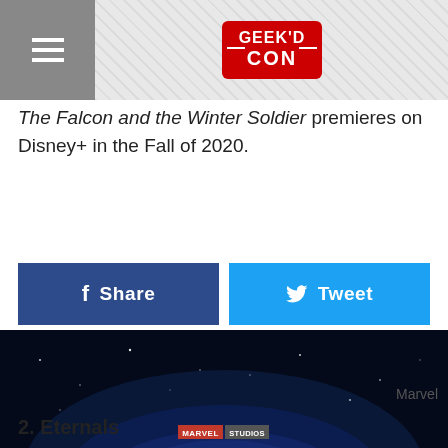GEEK'D CON
The Falcon and the Winter Soldier premieres on Disney+ in the Fall of 2020.
[Figure (other): Facebook Share button (dark blue) and Twitter Tweet button (light blue)]
[Figure (photo): Eternals movie logo on dark starry background — Marvel Studios Eternals title card]
Marvel
2. Eternals